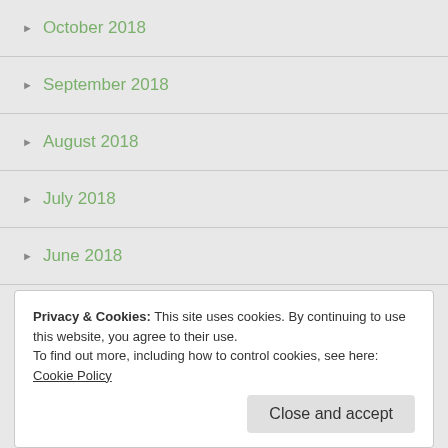October 2018
September 2018
August 2018
July 2018
June 2018
May 2018
Privacy & Cookies: This site uses cookies. By continuing to use this website, you agree to their use.
To find out more, including how to control cookies, see here: Cookie Policy
Close and accept